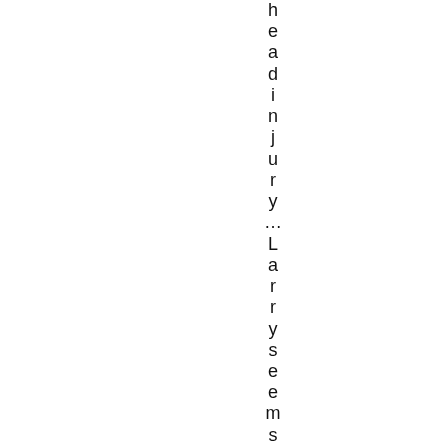headinjury...Larry seems to come out